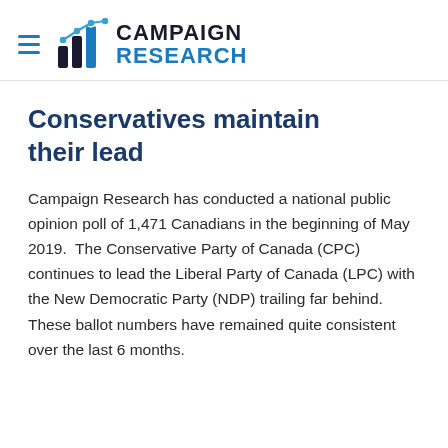Campaign Research
Conservatives maintain their lead
Campaign Research has conducted a national public opinion poll of 1,471 Canadians in the beginning of May 2019.  The Conservative Party of Canada (CPC) continues to lead the Liberal Party of Canada (LPC) with the New Democratic Party (NDP) trailing far behind.  These ballot numbers have remained quite consistent over the last 6 months.